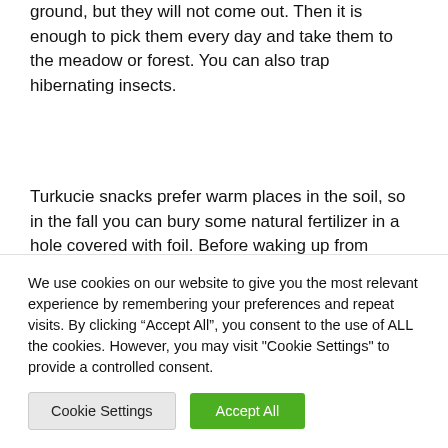ground, but they will not come out. Then it is enough to pick them every day and take them to the meadow or forest. You can also trap hibernating insects.
Turkucie snacks prefer warm places in the soil, so in the fall you can bury some natural fertilizer in a hole covered with foil. Before waking up from hibernation, we dig the foil trap again and catch the wintering insects.
We use cookies on our website to give you the most relevant experience by remembering your preferences and repeat visits. By clicking “Accept All”, you consent to the use of ALL the cookies. However, you may visit "Cookie Settings" to provide a controlled consent.